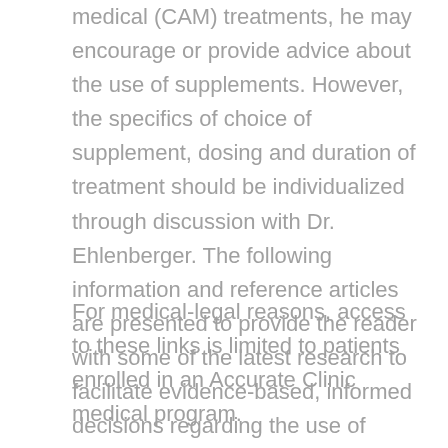medical (CAM) treatments, he may encourage or provide advice about the use of supplements. However, the specifics of choice of supplement, dosing and duration of treatment should be individualized through discussion with Dr. Ehlenberger. The following information and reference articles are presented to provide the reader with some of the latest research to facilitate evidence-based, informed decisions regarding the use of conventional as well as CAM treatments.
For medical-legal reasons, access to these links is limited to patients enrolled in an Accurate Clinic medical program.